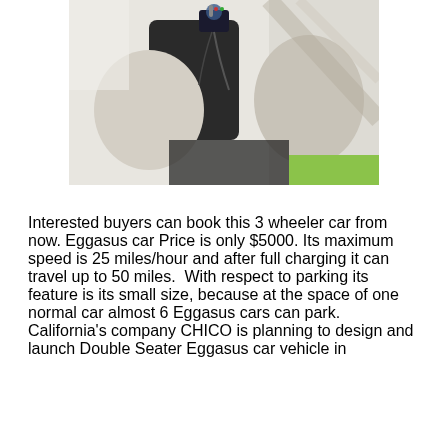[Figure (photo): Close-up photo of what appears to be a small electric vehicle or 3-wheeler car showing charging equipment, fabric bags/seat covers, with a green/lime colored panel visible at the bottom right.]
Interested buyers can book this 3 wheeler car from now. Eggasus car Price is only $5000. Its maximum speed is 25 miles/hour and after full charging it can travel up to 50 miles.  With respect to parking its feature is its small size, because at the space of one normal car almost 6 Eggasus cars can park. California's company CHICO is planning to design and launch Double Seater Eggasus car vehicle in